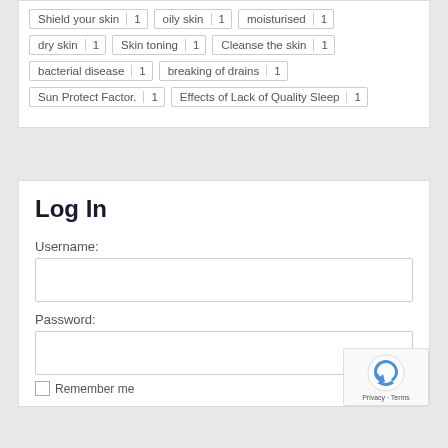Shield your skin 1 | oily skin 1 | moisturised 1
dry skin 1 | Skin toning 1 | Cleanse the skin 1
bacterial disease 1 | breaking of drains 1
Sun Protect Factor. 1 | Effects of Lack of Quality Sleep 1
Log In
Username:
Password:
Remember me